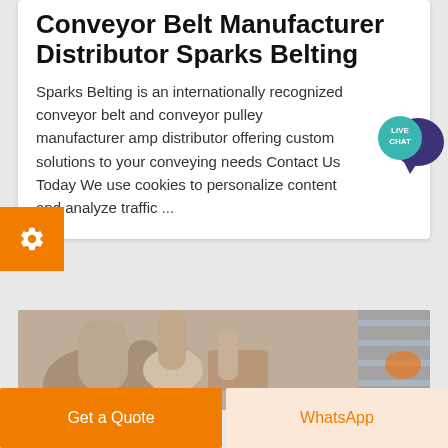Conveyor Belt Manufacturer Distributor Sparks Belting
Sparks Belting is an internationally recognized conveyor belt and conveyor pulley manufacturer amp distributor offering custom solutions to your conveying needs Contact Us Today We use cookies to personalize content and analyze traffic ...
[Figure (photo): Close-up photo of industrial conveyor belt or pulley machinery parts]
Get a Quote
WhatsApp